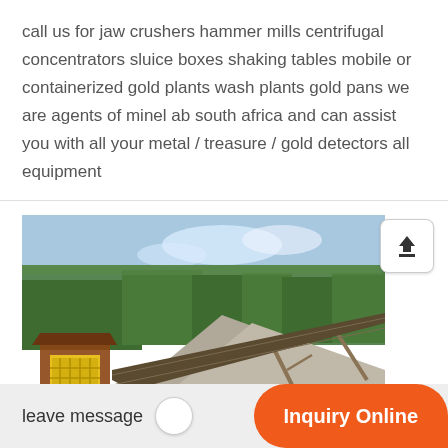call us for jaw crushers hammer mills centrifugal concentrators sluice boxes shaking tables mobile or containerized gold plants wash plants gold pans we are agents of minel ab south africa and can assist you with all your metal / treasure / gold detectors all equipment
[Figure (photo): Mining site with a jaw crusher/hammer mill machine on the left with a yellow hopper, a long conveyor belt extending to the right, large piles of crushed stone/gravel in the background, and trees visible behind. Blue sky with light clouds.]